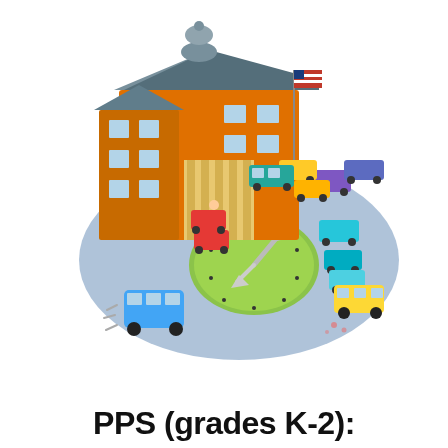[Figure (illustration): Colorful cartoon illustration of a school building (orange brick, blue-gray roof with dome) with cars, buses, and vehicles crowded around in a circular traffic loop pattern, with a clock face visible on the ground in the center of the roundabout. An American flag is on a pole near the school entrance.]
PPS (grades K-2):